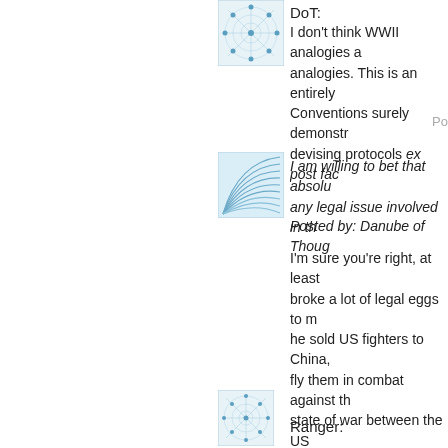[Figure (illustration): Square avatar icon with blue neural/network pattern on white background]
DoT:
I don't think WWII analogies a... analogies. This is an entirely... Conventions surely demonstr... devising protocols ex post fac...
Po...
[Figure (illustration): Square avatar icon with blue fan/wave pattern on white background]
I am willing to bet that absolu... any legal issue involved in th...
Posted by: Danube of Thoug...
I'm sure you're right, at least ... broke a lot of legal eggs to m... he sold US fighters to China,... fly them in combat against th... state of war between the US... under US and international la... time.
[Figure (illustration): Square avatar icon with blue neural/network pattern on white background]
Ranger: